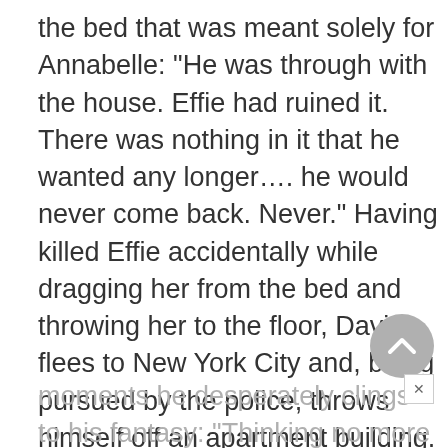the bed that was meant solely for Annabelle: "He was through with the house. Effie had ruined it. There was nothing in it that he wanted any longer…. he would never come back. Never." Having killed Effie accidentally while dragging her from the bed and throwing her to the floor, David flees to New York City and, being pursued by the police, throws himself off an apartment building. In his last
moments he desperately clings to his fantasy: "Thinking no more about it, he